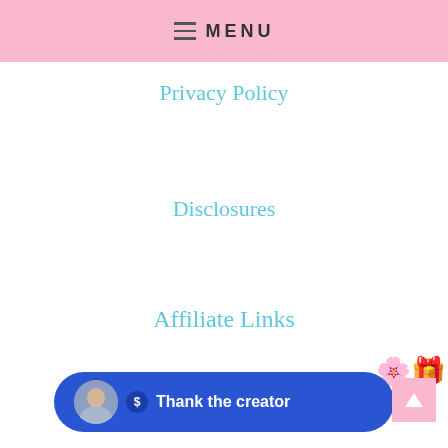MENU
Privacy Policy
Disclosures
Affiliate Links
About Me
Hi! I'm Robyn, the mom behind the blog. I started Adventures in Abbyland when my daughter was born as a way to share with friends and fam… Now Ab… as bec… our mommy/daughter blog! I love crafting, baking